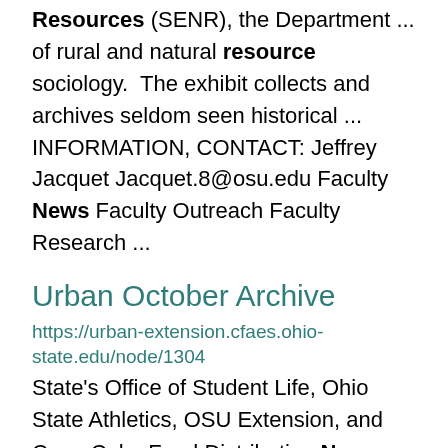Resources (SENR), the Department ... of rural and natural resource sociology.  The exhibit collects and archives seldom seen historical ... INFORMATION, CONTACT: Jeffrey Jacquet Jacquet.8@osu.edu Faculty News Faculty Outreach Faculty Research ...
Urban October Archive
https://urban-extension.cfaes.ohio-state.edu/node/1304
State's Office of Student Life, Ohio State Athletics, OSU Extension, and Coca-Cola. Food Distribution News ... Engagement Urban October News Article Download